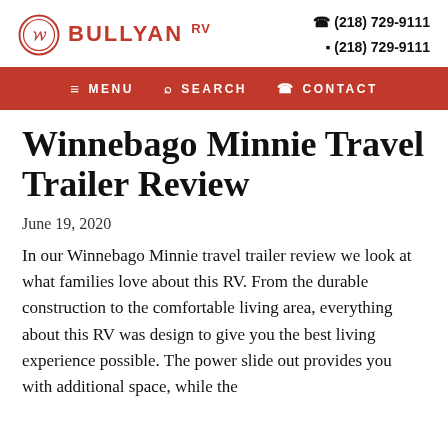BULLYAN RV  ☎ (218) 729-9111  ▪ (218) 729-9111
≡ MENU  ⌕ SEARCH  ☎ CONTACT
Winnebago Minnie Travel Trailer Review
June 19, 2020
In our Winnebago Minnie travel trailer review we look at what families love about this RV. From the durable construction to the comfortable living area, everything about this RV was design to give you the best living experience possible. The power slide out provides you with additional space, while the